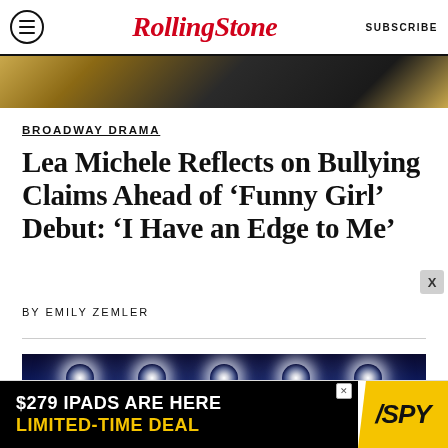Rolling Stone  SUBSCRIBE
[Figure (photo): Top cropped photo strip showing a person with dark hair against a light/yellow background]
BROADWAY DRAMA
Lea Michele Reflects on Bullying Claims Ahead of ‘Funny Girl’ Debut: ‘I Have an Edge to Me’
BY EMILY ZEMLER
[Figure (photo): Concert/performance photo showing a performer on stage with bright star-burst stage lights against a dark blue background, with other musicians visible at sides]
$279 IPADS ARE HERE LIMITED-TIME DEAL / SPY advertisement banner